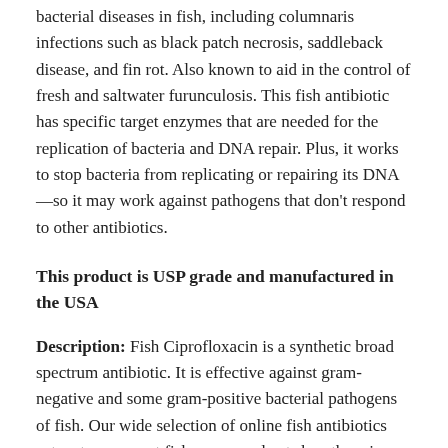bacterial diseases in fish, including columnaris infections such as black patch necrosis, saddleback disease, and fin rot. Also known to aid in the control of fresh and saltwater furunculosis. This fish antibiotic has specific target enzymes that are needed for the replication of bacteria and DNA repair. Plus, it works to stop bacteria from replicating or repairing its DNA—so it may work against pathogens that don't respond to other antibiotics.
This product is USP grade and manufactured in the USA
Description: Fish Ciprofloxacin is a synthetic broad spectrum antibiotic. It is effective against gram-negative and some gram-positive bacterial pathogens of fish. Our wide selection of online fish antibiotics caters to every pet fish owner and pet shop there is.